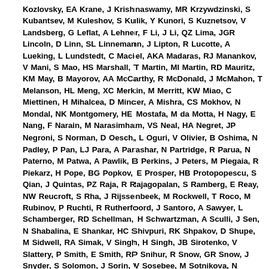Kozlovsky, EA Krane, J Krishnaswamy, MR Krzywdzinski, S Kubantsev, M Kuleshov, S Kulik, Y Kunori, S Kuznetsov, V Landsberg, G Leflat, A Lehner, F Li, J Li, QZ Lima, JGR Lincoln, D Linn, SL Linnemann, J Lipton, R Lucotte, A Lueking, L Lundstedt, C Maciel, AKA Madaras, RJ Manankov, V Mani, S Mao, HS Marshall, T Martin, MI Martin, RD Mauritz, KM May, B Mayorov, AA McCarthy, R McDonald, J McMahon, T Melanson, HL Meng, XC Merkin, M Merritt, KW Miao, C Miettinen, H Mihalcea, D Mincer, A Mishra, CS Mokhov, N Mondal, NK Montgomery, HE Mostafa, M da Motta, H Nagy, E Nang, F Narain, M Narasimham, VS Neal, HA Negret, JP Negroni, S Norman, D Oesch, L Oguri, V Olivier, B Oshima, N Padley, P Pan, LJ Para, A Parashar, N Partridge, R Parua, N Paterno, M Patwa, A Pawlik, B Perkins, J Peters, M Piegaia, R Piekarz, H Pope, BG Popkov, E Prosper, HB Protopopescu, S Qian, J Quintas, PZ Raja, R Rajagopalan, S Ramberg, E Reay, NW Reucroft, S Rha, J Rijssenbeek, M Rockwell, T Roco, M Rubinov, P Ruchti, R Rutherfoord, J Santoro, A Sawyer, L Schamberger, RD Schellman, H Schwartzman, A Sculli, J Sen, N Shabalina, E Shankar, HC Shivpuri, RK Shpakov, D Shupe, M Sidwell, RA Simak, V Singh, H Singh, JB Sirotenko, V Slattery, P Smith, E Smith, RP Snihur, R Snow, GR Snow, J Snyder, S Solomon, J Sorin, V Sosebee, M Sotnikova, N Soustruznik, K Souza, M Stanton, NR Steinbruck, C Stephens, RW Stevenson, ML